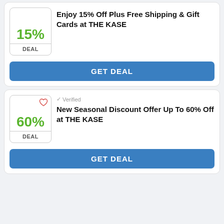[Figure (other): Deal card showing 15% discount with DEAL label]
Enjoy 15% Off Plus Free Shipping & Gift Cards at THE KASE
GET DEAL
[Figure (other): Deal card showing 60% discount with heart icon and DEAL label]
✓ Verified
New Seasonal Discount Offer Up To 60% Off at THE KASE
GET DEAL